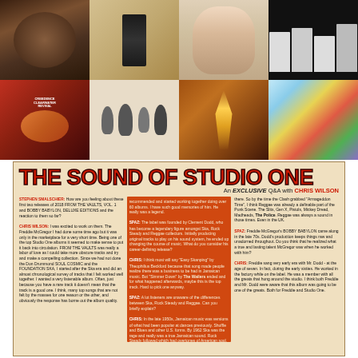[Figure (photo): Grid of 8 album covers arranged in 2 rows of 4. Top row: dark album with hands, black/tan figure silhouette album, Adele 25 close-up face, black and white band photo. Bottom row: Creedence Clearwater Revival colorful band photo, white album with illustrated figures, golden-silhouette dancer album, colorful abstract/map artwork album.]
THE SOUND OF STUDIO ONE
An EXCLUSIVE Q&A with CHRIS WILSON
STEPHEN SMALSCHIER: How are you feeling about these first two releases of 2018 FROM THE VAULTS, VOL. 1 and BOBBY BABYLON, DELUXE EDITIONS and the reaction to them so far?
CHRIS WILSON: I was excited to work on them. The Freddie McGregor I had done some time ago but it was only in the marketplace for a very short time. Being one of the top Studio One albums it seemed to make sense to put it back into circulation. FROM THE VAULTS was really a labor of love as I could take more obscure tracks and try and make a compelling collection. Since we had not done the Don Drummond SOUL COSMIC and the FOUNDATION SKA, I started after the Ska era and did an almost chronological survey of tracks that I felt worked well together. I wanted a very listenable album. Often, just because you have a rare track it doesn't mean that the track is a good one. I think, many top songs that are not felt by the masses for one reason or the other, and obviously the response has borne out the album quality.
recommended and started working together doing over 60 albums. I have such good memories of him. He really was a legend.
SPAZ: The label was founded by Clement Dodd, who has become a legendary figure amongst Ska, Rock Steady and Reggae collectors. Initially producing original tracks to play on his sound system, he ended up changing the course of music. What do you consider his career-defining release?
CHRIS: I think most will say "Easy Skanking" by Theophilius Beckford because that song made people realize there was a business to be had in Jamaican music. But "Simmer Down" by The Wailers ended and for what happened afterwards, maybe this is the top track. Hard to pick one anyway.
SPAZ: A lot listeners are unaware of the differences between Ska, Rock Steady and Reggae. Can you briefly explain?
CHRIS: In the late 1950s, Jamaican music was versions of what had been popular at dances previously. Shuffle and Blues and other U.S. forms. By 1962 Ska was the rage and really was a true Jamaican sound. Rock Steady followed which had overtones of American soul. I think the real change was from the upright bass which had worked well in Ska, to the electric bass of the Rock Steady hits which allowed a spookier, more mystical sound. Defined and eerie, especially at Studio Inn where Clement
there. So by the time the Clash grabbed "Armageddon Time", I think Reggae was already a definable part of the Punk Scene. The Slits, Gen X, Pistols, Mickey Dread, Madheads, The Police. Reggae was always a sound in those times. Even in the UK.
SPAZ: Freddie McGregor's BOBBY BABYLON came along in the late 70s. Dodd's production keeps things raw and unadorned throughout. Do you think that he realized what a true and lasting talent McGregor was when he worked with him?
CHRIS: Freddie sang very early era with Mr. Dodd - at the age of seven. In fact, during the early sixties. He worked in the factory while on the label. He was a member with all the greats that hung around the studio. I think both Freddie and Mr. Dodd were aware that this album was going to be one of the greats. Both for Freddie and Studio One.